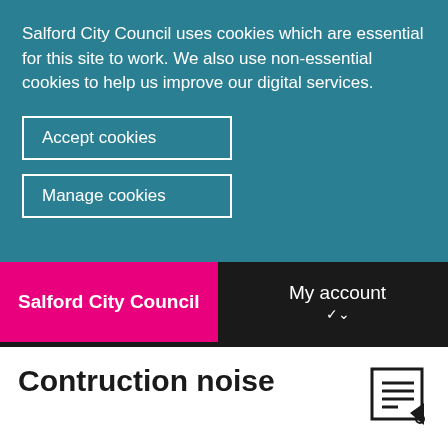Salford City Council uses cookies which are essential for this site to work. We also use non-essential cookies to help us improve our digital services.
Accept cookies
Manage cookies
Salford City Council
My account
Contruction noise